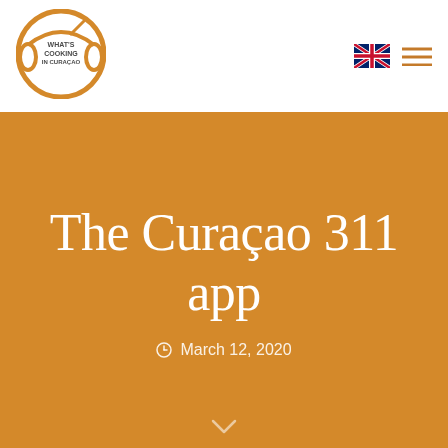[Figure (logo): What's Cooking in Curaçao circular logo with orange ring and fork/spoon icon]
[Figure (other): UK flag icon and hamburger menu icon in header navigation]
The Curaçao 311 app
March 12, 2020